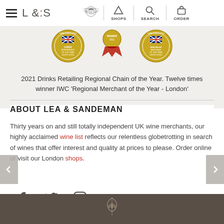L&S — Lea & Sandeman navigation header with Shops, Search, Order
[Figure (illustration): Three award badges: Large Independent of the Year Shortlisted (IWC 2021), Winner 2021 ribbon, Specialist Merchant of the Year Shortlisted (IWC 2021)]
2021 Drinks Retailing Regional Chain of the Year. Twelve times winner IWC 'Regional Merchant of the Year - London'
ABOUT LEA & SANDEMAN
Thirty years on and still totally independent UK wine merchants, our highly acclaimed wine list reflects our relentless globetrotting in search of wines that offer interest and quality at prices to please. Order online or visit our London shops.
[Figure (illustration): Social media icons: Facebook, Twitter, Instagram]
[Figure (illustration): Dark footer with Lea & Sandeman decorative botanical logo/crest in light color]